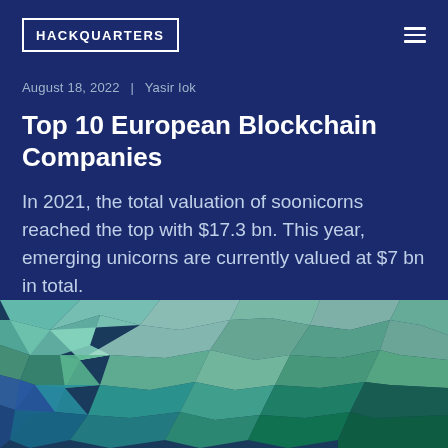HACKQUARTERS
August 18, 2022  |  Yasir Iok
Top 10 European Blockchain Companies
In 2021, the total valuation of soonicorns reached the top with $17.3 bn. This year, emerging unicorns are currently valued at $7 bn in total.
[Figure (map): Colorful low-poly geometric map of Europe showing blockchain company distribution, with colors ranging from blue to green and teal tones.]